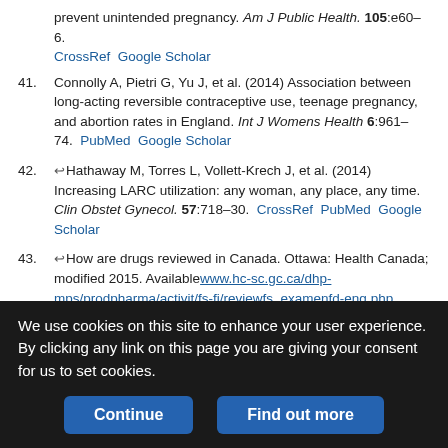prevent unintended pregnancy. Am J Public Health. 105:e60–6. CrossRef Google Scholar
41. Connolly A, Pietri G, Yu J, et al. (2014) Association between long-acting reversible contraceptive use, teenage pregnancy, and abortion rates in England. Int J Womens Health 6:961–74. PubMed Google Scholar
42. ↩Hathaway M, Torres L, Vollett-Krech J, et al. (2014) Increasing LARC utilization: any woman, any place, any time. Clin Obstet Gynecol. 57:718–30. CrossRef PubMed Google Scholar
43. ↩How are drugs reviewed in Canada. Ottawa: Health Canada; modified 2015. Available www.hc-sc.gc.ca/dhp-mps/prodpharma/activit/fs-fi/reviewfs_examenfd-eng.php. accessed 2015 Aug. 30. Google Scholar
44. ↩Prescription Drug User Fee Act. Silver Spring (MD): US Food and Drug Administration; updated 2016.
We use cookies on this site to enhance your user experience. By clicking any link on this page you are giving your consent for us to set cookies.